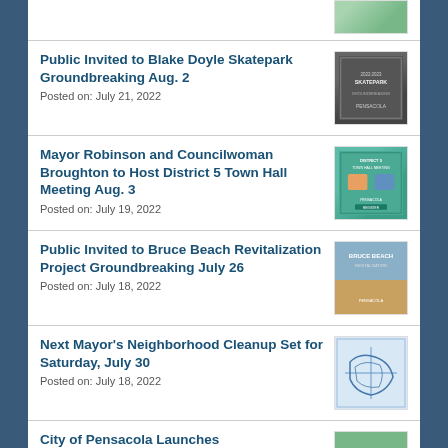[Figure (photo): Partial thumbnail visible at top of page]
Public Invited to Blake Doyle Skatepark Groundbreaking Aug. 2
Posted on: July 21, 2022
[Figure (photo): Blake Doyle Skatepark event flyer thumbnail]
Mayor Robinson and Councilwoman Broughton to Host District 5 Town Hall Meeting Aug. 3
Posted on: July 19, 2022
[Figure (photo): District 5 Town Hall Meeting flyer thumbnail]
Public Invited to Bruce Beach Revitalization Project Groundbreaking July 26
Posted on: July 18, 2022
[Figure (photo): Bruce Beach aerial photo thumbnail]
Next Mayor's Neighborhood Cleanup Set for Saturday, July 30
Posted on: July 18, 2022
[Figure (map): Map thumbnail for neighborhood cleanup]
City of Pensacola Launches